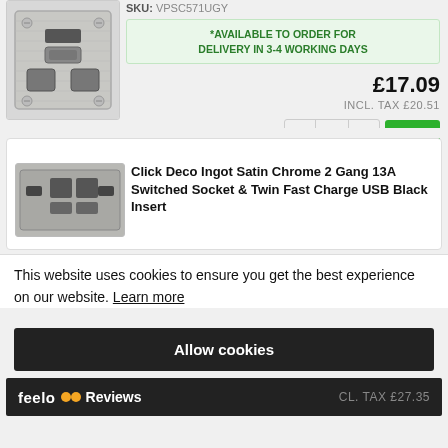[Figure (photo): Satin chrome electrical socket with USB ports - product image (partially visible, top cropped)]
SKU: VPSC571UGY
*AVAILABLE TO ORDER FOR DELIVERY IN 3-4 WORKING DAYS
£17.09
INCL. TAX £20.51
[Figure (photo): Click Deco Ingot Satin Chrome 2 Gang 13A Switched Socket & Twin Fast Charge USB Black Insert product image]
Click Deco Ingot Satin Chrome 2 Gang 13A Switched Socket & Twin Fast Charge USB Black Insert
This website uses cookies to ensure you get the best experience on our website. Learn more
Allow cookies
feefo Reviews
CL. TAX £27.35